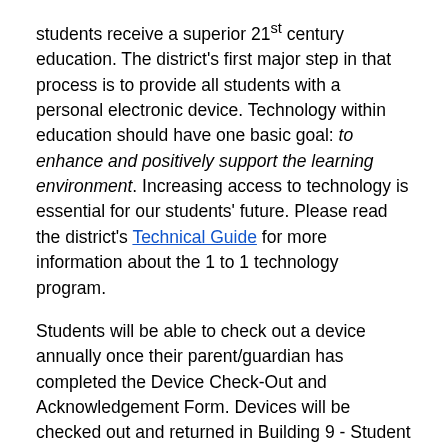students receive a superior 21st century education. The district's first major step in that process is to provide all students with a personal electronic device. Technology within education should have one basic goal: to enhance and positively support the learning environment. Increasing access to technology is essential for our students' future. Please read the district's Technical Guide for more information about the 1 to 1 technology program.
Students will be able to check out a device annually once their parent/guardian has completed the Device Check-Out and Acknowledgement Form. Devices will be checked out and returned in Building 9 - Student Support and Security using the same process we use for textbooks. There will be specific deployment dates at the beginning of each school year. Students that are having issues with their device can stop by Building 9 - Student Support and Security for assistance. Students will be required to return their device for accomplishment for future months